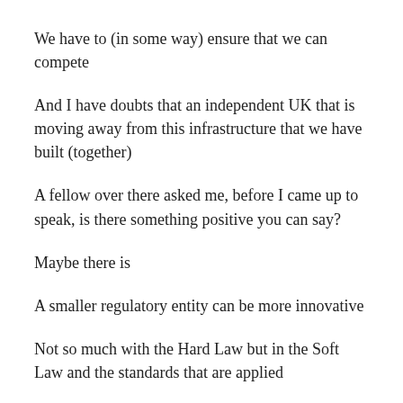We have to (in some way) ensure that we can compete
And I have doubts that an independent UK that is moving away from this infrastructure that we have built (together)
A fellow over there asked me, before I came up to speak, is there something positive you can say?
Maybe there is
A smaller regulatory entity can be more innovative
Not so much with the Hard Law but in the Soft Law and the standards that are applied